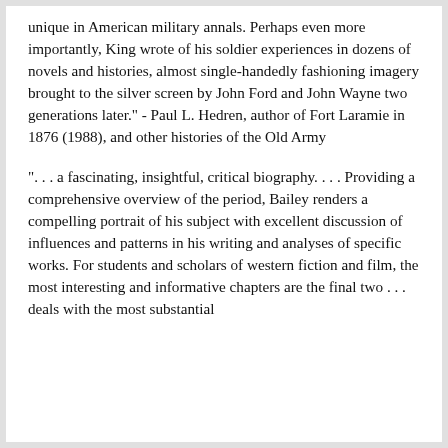unique in American military annals. Perhaps even more importantly, King wrote of his soldier experiences in dozens of novels and histories, almost single-handedly fashioning imagery brought to the silver screen by John Ford and John Wayne two generations later." - Paul L. Hedren, author of Fort Laramie in 1876 (1988), and other histories of the Old Army
". . . a fascinating, insightful, critical biography. . . . Providing a comprehensive overview of the period, Bailey renders a compelling portrait of his subject with excellent discussion of influences and patterns in his writing and analyses of specific works. For students and scholars of western fiction and film, the most interesting and informative chapters are the final two . . . deals with the most substantial